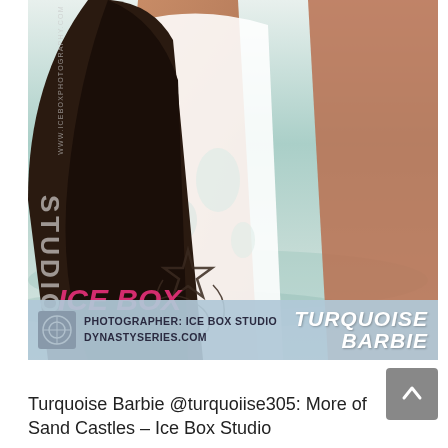[Figure (photo): Close-up photo of a woman in a white wet bodysuit/swimsuit at a beach. She has long dark hair and tattoos on her leg. The ICE BOX Studios watermark logo is overlaid on the left side of the image. A light blue banner at the bottom shows 'PHOTOGRAPHER: ICE BOX STUDIO / DYNASTYSERIES.COM' on the left and 'TURQUOISE BARBIE' in italic white text on the right.]
Turquoise Barbie @turquoiise305: More of Sand Castles – Ice Box Studio